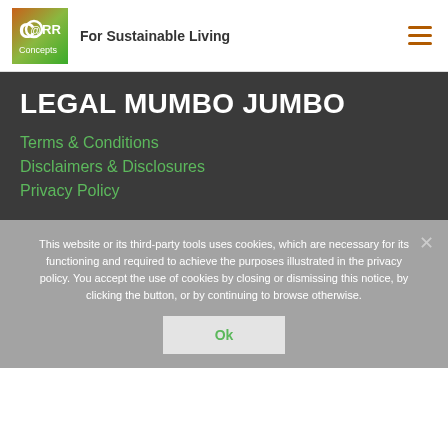[Figure (logo): CORR Concepts logo — square with orange-to-green gradient, white letter C with ring O inside, text 'CORR Concepts']
For Sustainable Living
LEGAL MUMBO JUMBO
Terms & Conditions
Disclaimers & Disclosures
Privacy Policy
This website or its third-party tools uses cookies, which are necessary for its functioning and required to achieve the purposes illustrated in the privacy policy. You accept the use of cookies by closing or dismissing this notice, by clicking the button, or by continuing to browse otherwise.
Ok